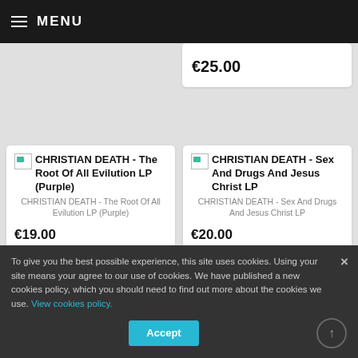MENU
€25.00
[Figure (screenshot): Product image placeholder for CHRISTIAN DEATH - The Root Of All Evilution LP (Purple)]
CHRISTIAN DEATH - The Root Of All Evilution LP (Purple)
CHRISTIAN DEATH - The Root Of All Evilution LP (Purple)
€19.00
[Figure (screenshot): Product image placeholder for CHRISTIAN DEATH - Sex And Drugs And Jesus Christ LP]
CHRISTIAN DEATH - Sex And Drugs And Jesus Christ LP
CHRISTIAN DEATH - Sex And Drugs And Jesus Christ LP
€20.00
[Figure (screenshot): Product image placeholder for CULTUS PROFANO - Accursed]
CULTUS PROFANO - Accursed
Accursed Possession LP
To give you the best possible experience, this site uses cookies. Using your site means your agree to our use of cookies. We have published a new cookies policy, which you should need to find out more about the cookies we use. View cookies policy.